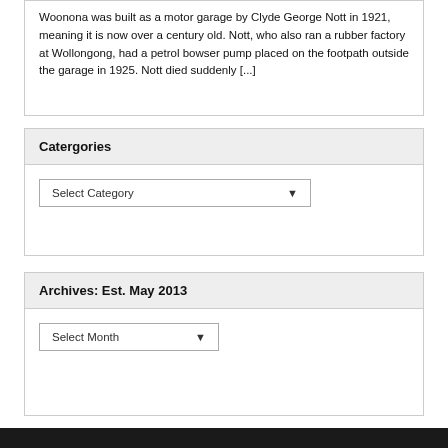Woonona was built as a motor garage by Clyde George Nott in 1921, meaning it is now over a century old. Nott, who also ran a rubber factory at Wollongong, had a petrol bowser pump placed on the footpath outside the garage in 1925. Nott died suddenly [...]
Catergories
Select Category
Archives: Est. May 2013
Select Month